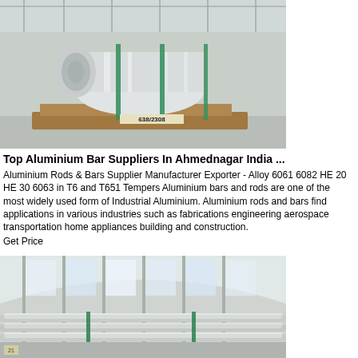[Figure (photo): Large aluminium coil/roll on wooden pallet in industrial warehouse, marked 638/2308]
Top Aluminium Bar Suppliers In Ahmednagar India ...
Aluminium Rods & Bars Supplier Manufacturer Exporter - Alloy 6061 6082 HE 20 HE 30 6063 in T6 and T651 Tempers Aluminium bars and rods are one of the most widely used form of Industrial Aluminium. Aluminium rods and bars find applications in various industries such as fabrications engineering aerospace transportation home appliances building and construction.
Get Price
[Figure (photo): Long aluminium bars/rods stored horizontally in a large industrial warehouse with curved roof structure]